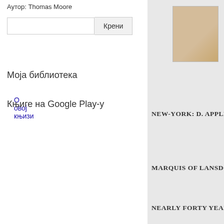Аутор: Thomas Moore
О овој књизи
Моја библиотека
Књиге на Google Play-у
Правилник о употреби
[Figure (photo): Book cover image thumbnail with aged yellowish-brown appearance]
NEW-YORK: D. APPLETON
MARQUIS OF LANSDOWN
NEARLY FORTY YEARS OF